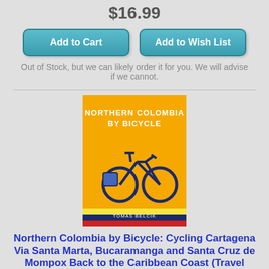$16.99
Add to Cart
Add to Wish List
Out of Stock, but we can likely order it for you. We will advise if we cannot.
[Figure (illustration): Book cover for 'Northern Colombia by Bicycle' by Tomas Belcik — yellow background with a bicycle silhouette and Colombian flag colors at the bottom.]
Northern Colombia by Bicycle: Cycling Cartagena Via Santa Marta, Bucaramanga and Santa Cruz de Mompox Back to the Caribbean Coast (Travel Pictorial) (Paperback)
By Tomas Belcik
$13.75
Add to Cart
Add to Wish List